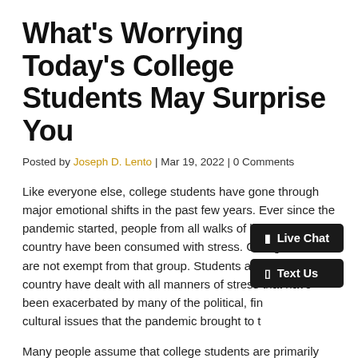What's Worrying Today's College Students May Surprise You
Posted by Joseph D. Lento | Mar 19, 2022 | 0 Comments
Like everyone else, college students have gone through major emotional shifts in the past few years. Ever since the pandemic started, people from all walks of life across the country have been consumed with stress. College students are not exempt from that group. Students across the country have dealt with all manners of stress that have been exacerbated by many of the political, fin... cultural issues that the pandemic brought to t...
Many people assume that college students are primarily consumed with the idea of free speech. What they'd be surprised to learn is that many college students don't have